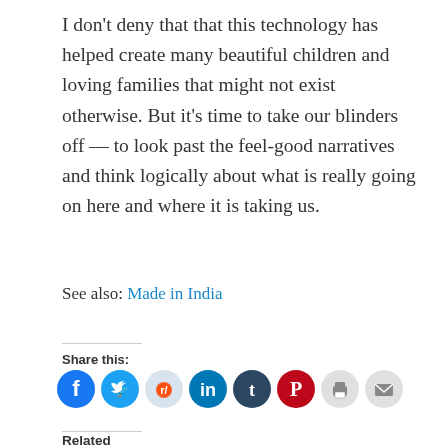I don't deny that that this technology has helped create many beautiful children and loving families that might not exist otherwise. But it's time to take our blinders off — to look past the feel-good narratives and think logically about what is really going on here and where it is taking us.
See also: Made in India
Share this:
[Figure (infographic): Row of social share icon buttons: Facebook (blue), Twitter (light blue), Reddit (light grey), LinkedIn (dark blue), Tumblr (dark navy), Pinterest (red), Print (light grey), Email (light grey)]
Related
Eggsploitation, Surrogacy and the Business of Making Babies
Made in India
January 19, 2011
In "Reproductive